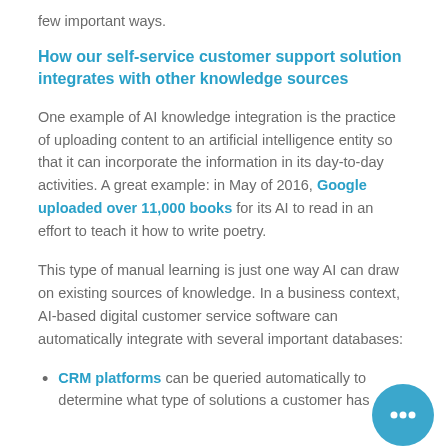few important ways.
How our self-service customer support solution integrates with other knowledge sources
One example of AI knowledge integration is the practice of uploading content to an artificial intelligence entity so that it can incorporate the information in its day-to-day activities. A great example: in May of 2016, Google uploaded over 11,000 books for its AI to read in an effort to teach it how to write poetry.
This type of manual learning is just one way AI can draw on existing sources of knowledge. In a business context, AI-based digital customer service software can automatically integrate with several important databases:
CRM platforms can be queried automatically to determine what type of solutions a customer has